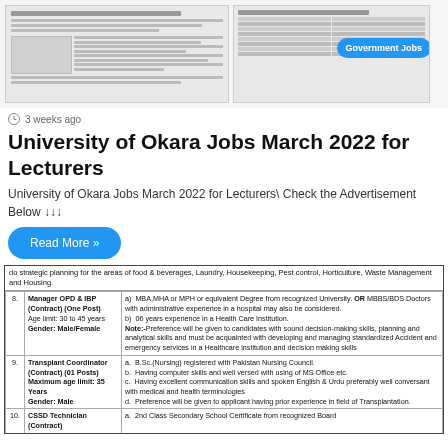[Figure (screenshot): Two document images side-by-side showing job advertisement tables, with a blue 'Government Jobs' badge overlaid on the right image]
3 weeks ago
University of Okara Jobs March 2022 for Lecturers
University of Okara Jobs March 2022 for Lecturers\ Check the Advertisement Below ↓↓↓
Read More »
|  | Position | Requirements |
| --- | --- | --- |
|  | do strategic planning for the areas of food & beverages, Laundry, Housekeeping, Pest control, Horticulture, Waste Management and Housing. |  |
| 8. | Manager OPD & IBP (Contract) (One Post)
Age limit: 30 to 45 years
Gender: Male/Female | a) MBA,MHA or MPH or equivalent Degree from recognized University. OR MBBS/BDS Doctors with administrative experience in a hospital may also be considered.
b) 06 years experience in a Health Care Institution.
Note:-Preference will be given to candidates with sound decision-making skills, planning and analytical skills and must be acquainted with developing and managing standardized Accident and emergency services in a Healthcare institution and decision making skills |
| 9. | Transplant Coordinator (Contract) (01 Posts)
Maximum age limit: 35 Years
Gender: Male | a. B.Sc.(Nursing) registered with Pakistan Nursing Council.
b. Having computer skills and well versed with using of MS Office etc.
c. Having excellent communication skills and spoken English & Urdu preferably well conversant with medical and health terminologies
d. Preference will be given to applicant having prior experience in field of Transplantation. |
| 10. | CSSD Technician (Contract) | a. 2nd Class Secondary School Certificate from recognized Board |